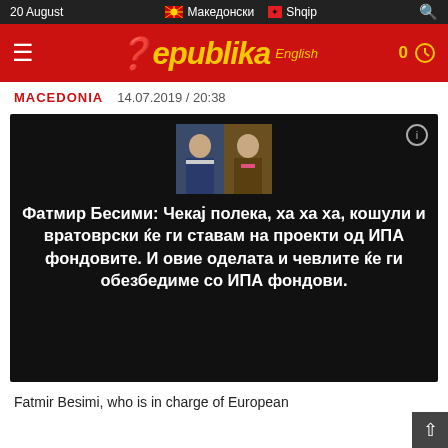20 August | Македонски | Shqip
[Figure (logo): Republika English logo on red header bar with hamburger menu icon on left and notification icon on right]
MACEDONIA   14.07.2019 / 20:38
[Figure (screenshot): Black background image with two men in suits at top and Macedonian Cyrillic text: Фатмир Бесими: Чекај полека, ха ха ха, кошули и вратоврски ќе ги ставам на проекти од ИПА фондовите. И овие оделата и чевлите ќе ги обезбедиме со ИПА фондови.]
Fatmir Besimi, who is in charge of European